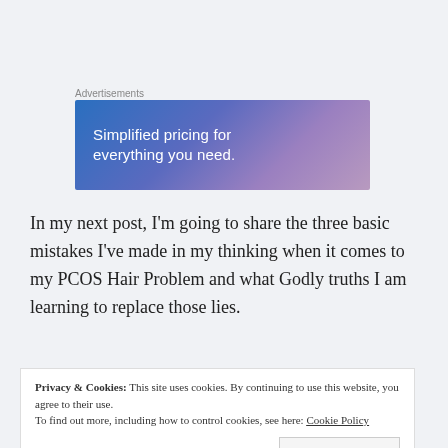Advertisements
[Figure (screenshot): Advertisement banner with gradient background (blue to purple) displaying text: Simplified pricing for everything you need.]
In my next post, I'm going to share the three basic mistakes I've made in my thinking when it comes to my PCOS Hair Problem and what Godly truths I am learning to replace those lies.
Privacy & Cookies: This site uses cookies. By continuing to use this website, you agree to their use. To find out more, including how to control cookies, see here: Cookie Policy
Close and accept